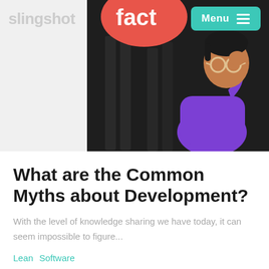[Figure (illustration): Illustration of a person with glasses scratching their head in confusion, wearing a purple shirt, against a dark background with speech bubble showing 'fact' text. Slingshot logo visible top-left, teal Menu button top-right.]
What are the Common Myths about Development?
With the level of knowledge sharing we have today, it can seem impossible to figure...
Lean  Software